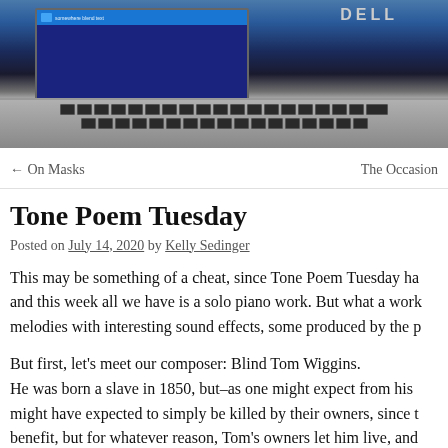[Figure (photo): Photo of a Dell laptop from above, showing screen with Windows interface and keyboard below]
← On Masks
The Occasion
Tone Poem Tuesday
Posted on July 14, 2020 by Kelly Sedinger
This may be something of a cheat, since Tone Poem Tuesday ha... and this week all we have is a solo piano work. But what a work... melodies with interesting sound effects, some produced by the p...
But first, let's meet our composer: Blind Tom Wiggins. He was born a slave in 1850, but–as one might expect from his ... might have expected to simply be killed by their owners, since t... benefit, but for whatever reason, Tom's owners let him live, and... simply wander about the plantation and entertain himself as bes... his finding his way to a piano. He played songs from memory u...